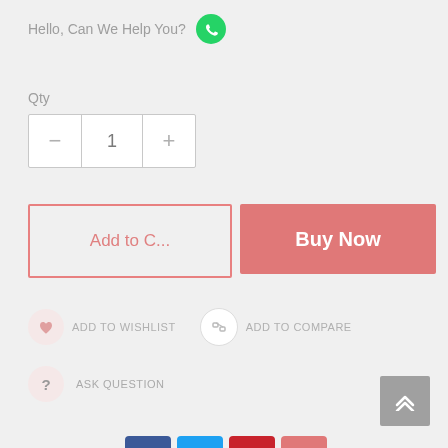Hello, Can We Help You?
Qty
1
Add to C...
Buy Now
ADD TO WISHLIST
ADD TO COMPARE
ASK QUESTION
SHARE THIS
[Figure (screenshot): E-commerce product page UI section with quantity selector, Add to Cart and Buy Now buttons, wishlist/compare/ask question actions, social share icons (Facebook, Twitter, Pinterest, plus), and payment method icons (Western Union, Cirrus, Visa, PayPal, Maestro, eBay)]